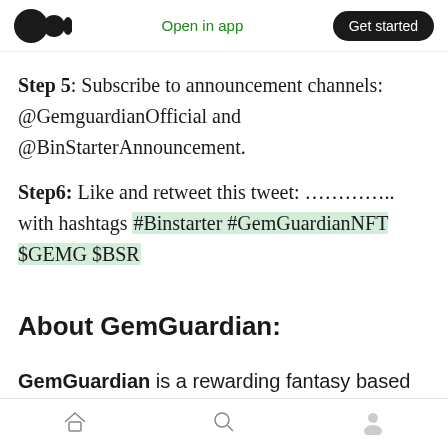Medium app header with logo, Open in app, Get started
Step 5: Subscribe to announcement channels: @GemguardianOfficial and @BinStarterAnnouncement.
Step6: Like and retweet this tweet: .............. with hashtags #Binstarter #GemGuardianNFT $GEMG $BSR
About GemGuardian:
GemGuardian is a rewarding fantasy based NFT Card Game on the BSC Network. We utilize the Dual Token economy to promote price sustainability, but at the same time keeping the
Bottom navigation: Home, Search, Profile